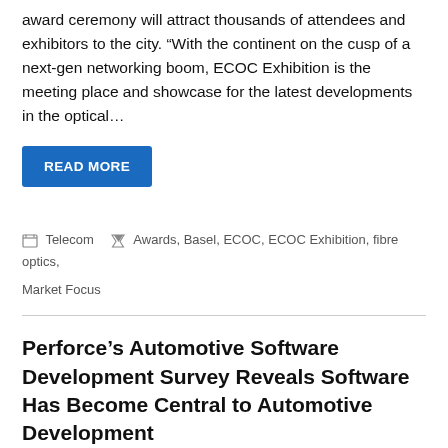award ceremony will attract thousands of attendees and exhibitors to the city. “With the continent on the cusp of a next-gen networking boom, ECOC Exhibition is the meeting place and showcase for the latest developments in the optical…
READ MORE
Telecom   Awards, Basel, ECOC, ECOC Exhibition, fibre optics, Market Focus
Perforce’s Automotive Software Development Survey Reveals Software Has Become Central to Automotive Development
May 19, 2022   RealWire
Survey of nearly 600 automotive development professionals finds fulfilling every ISO 26262 requirement to be the top safety concern; security and quality were also top of mind